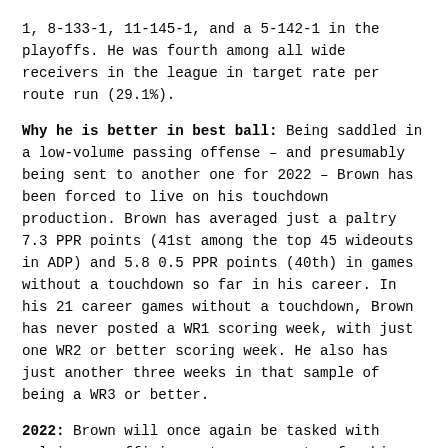1, 8-133-1, 11-145-1, and a 5-142-1 in the playoffs. He was fourth among all wide receivers in the league in target rate per route run (29.1%).
Why he is better in best ball: Being saddled in a low-volume passing offense – and presumably being sent to another one for 2022 – Brown has been forced to live on his touchdown production. Brown has averaged just a paltry 7.3 PPR points (41st among the top 45 wideouts in ADP) and 5.8 0.5 PPR points (40th) in games without a touchdown so far in his career. In his 21 career games without a touchdown, Brown has never posted a WR1 scoring week, with just one WR2 or better scoring week. He also has just another three weeks in that sample of being a WR3 or better.
2022: Brown will once again be tasked with relying on efficiency to carry water for him, joining an Eagles team that found their offensive stride in 2021 when they dialed back their offense through the air. Even if the Eagles find